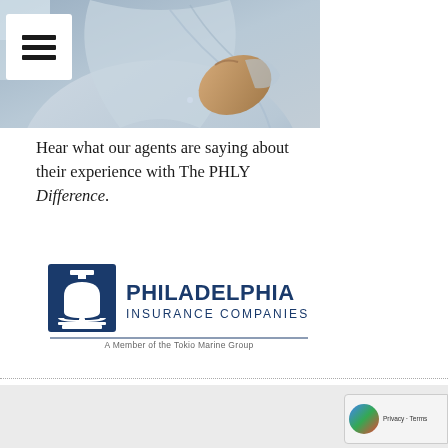[Figure (photo): A man in a light blue dress shirt rolling up his sleeve, cropped torso shot]
Hear what our agents are saying about their experience with The PHLY Difference.
[Figure (logo): Philadelphia Insurance Companies logo with Liberty Bell icon and tagline 'A Member of the Tokio Marine Group']